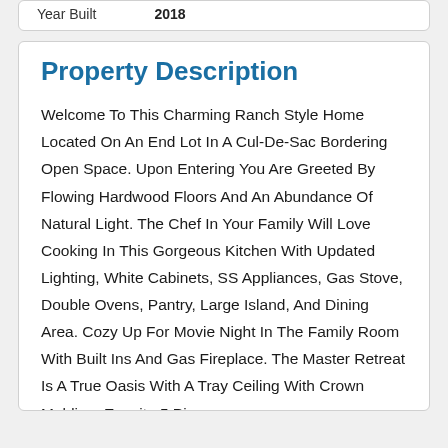| Year Built | 2018 |
| --- | --- |
Property Description
Welcome To This Charming Ranch Style Home Located On An End Lot In A Cul-De-Sac Bordering Open Space. Upon Entering You Are Greeted By Flowing Hardwood Floors And An Abundance Of Natural Light. The Chef In Your Family Will Love Cooking In This Gorgeous Kitchen With Updated Lighting, White Cabinets, SS Appliances, Gas Stove, Double Ovens, Pantry, Large Island, And Dining Area. Cozy Up For Movie Night In The Family Room With Built Ins And Gas Fireplace. The Master Retreat Is A True Oasis With A Tray Ceiling With Crown Molding, Ensuite 5 Piece